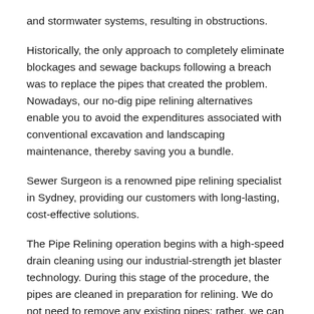and stormwater systems, resulting in obstructions.
Historically, the only approach to completely eliminate blockages and sewage backups following a breach was to replace the pipes that created the problem. Nowadays, our no-dig pipe relining alternatives enable you to avoid the expenditures associated with conventional excavation and landscaping maintenance, thereby saving you a bundle.
Sewer Surgeon is a renowned pipe relining specialist in Sydney, providing our customers with long-lasting, cost-effective solutions.
The Pipe Relining operation begins with a high-speed drain cleaning using our industrial-strength jet blaster technology. During this stage of the procedure, the pipes are cleaned in preparation for relining. We do not need to remove any existing pipes; rather, we can fabricate a